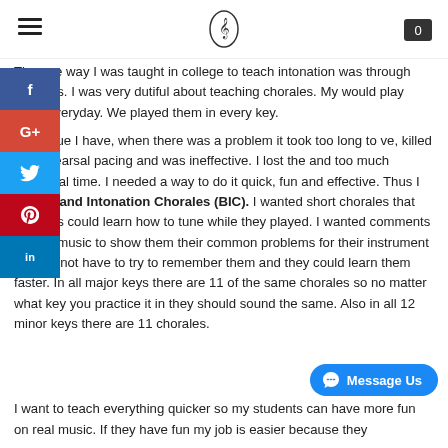[hamburger menu] [saxophone logo] [cart icon: 0]
[Figure (infographic): Social media share buttons sidebar on the left: Facebook (blue), Google+ (red), Twitter (light blue), Pinterest (red), LinkedIn (blue)]
The one way I was taught in college to teach intonation was through chorales. I was very dutiful about teaching chorales. My [students] would play them everyday. We played them in every key. The issue I have, when there was a problem it took too long to [resolve], killed my rehearsal pacing and was ineffective. I lost the [students] and too much rehearsal time. I needed a way to do it quick, fun and effective. Thus I wrote Band Intonation Chorales (BIC). I wanted short chorales that students could learn how to tune while they played. I wanted comments in their music to show them their common problems for their instrument so I did not have to try to remember them and they could learn them faster. In all major keys there are 11 of the same chorales so no matter what key you practice it in they should sound the same. Also in all 12 minor keys there are 11 chorales.
I want to teach everything quicker so my students can have more fun on real music. If they have fun my job is easier because they